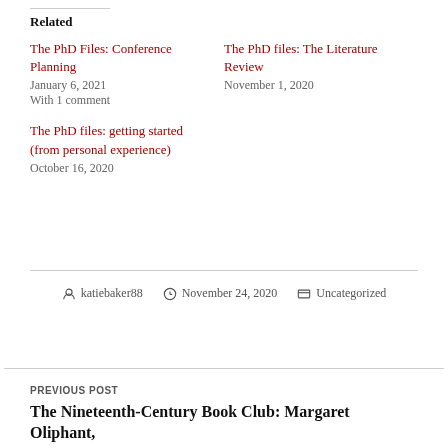Related
The PhD Files: Conference Planning
January 6, 2021
With 1 comment
The PhD files: The Literature Review
November 1, 2020
The PhD files: getting started (from personal experience)
October 16, 2020
katiebaker88 · November 24, 2020 · Uncategorized
PREVIOUS POST
The Nineteenth-Century Book Club: Margaret Oliphant,